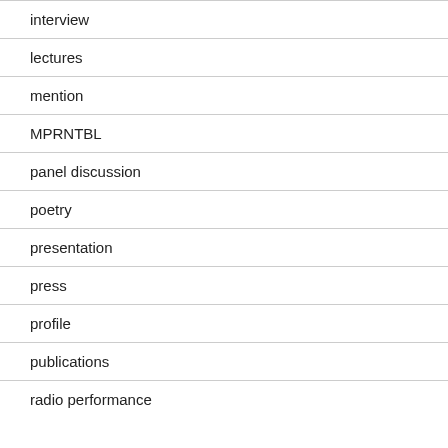interview
lectures
mention
MPRNTBL
panel discussion
poetry
presentation
press
profile
publications
radio performance